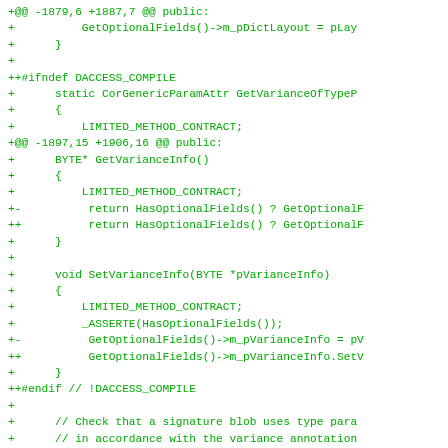[Figure (screenshot): Code diff snippet in green monospace font on white background showing C++ class modifications with git diff markers (+, +-, ++) for methods GetOptionalFields, GetVarianceInfo, SetVarianceInfo with #ifndef DACCESS_COMPILE guards]